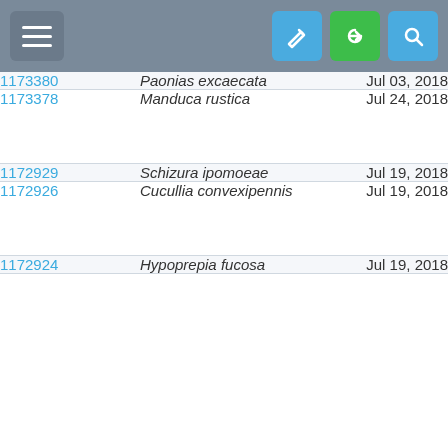[Figure (screenshot): Mobile app toolbar with hamburger menu button on left and blue pencil, green arrow, blue search buttons on right]
| ID | Species | Date |
| --- | --- | --- |
| 1173380 | Paonias excaecata | Jul 03, 2018 |
| 1173378 | Manduca rustica | Jul 24, 2018 |
| 1172929 | Schizura ipomoeae | Jul 19, 2018 |
| 1172926 | Cucullia convexipennis | Jul 19, 2018 |
| 1172924 | Hypoprepia fucosa | Jul 19, 2018 |